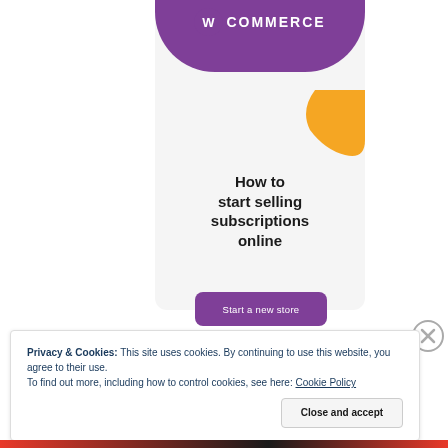[Figure (illustration): WooCommerce promotional banner showing the WooCommerce logo on a purple rounded header, an orange decorative shape, bold title text 'How to start selling subscriptions online', and a purple 'Start a new store' button, all on a light gray background card.]
Privacy & Cookies: This site uses cookies. By continuing to use this website, you agree to their use.
To find out more, including how to control cookies, see here: Cookie Policy
Close and accept